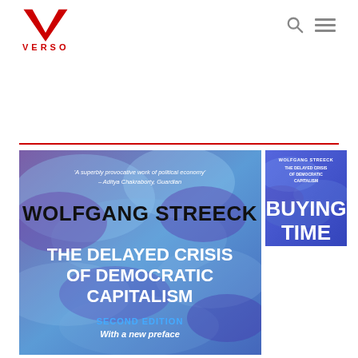VERSO (logo with navigation icons)
[Figure (illustration): Book cover: Wolfgang Streeck - The Delayed Crisis of Democratic Capitalism, Second Edition with a new preface. Blue/purple cloudy background with bold white and black text. Includes quote: 'A superbly provocative work of political economy' - Aditya Chakraborty, Guardian]
[Figure (illustration): Smaller book cover thumbnail: Buying Time - The Delayed Crisis of Democratic Capitalism by Wolfgang Streeck, blue cover]